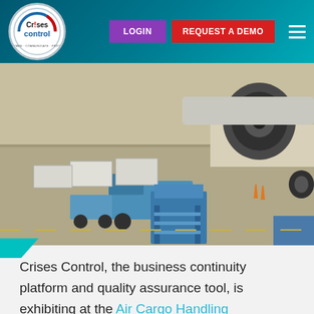[Figure (logo): Crises Control logo — circular white badge with blue and red text reading Crises Control, with tagline Prepare Communicate Protect]
LOGIN
REQUEST A DEMO
[Figure (photo): Airport tarmac scene showing cargo loading vehicles and containers being loaded onto an aircraft, with jet engine visible]
Crises Control, the business continuity platform and quality assurance tool, is exhibiting at the Air Cargo Handling Conference 2017, to be held at